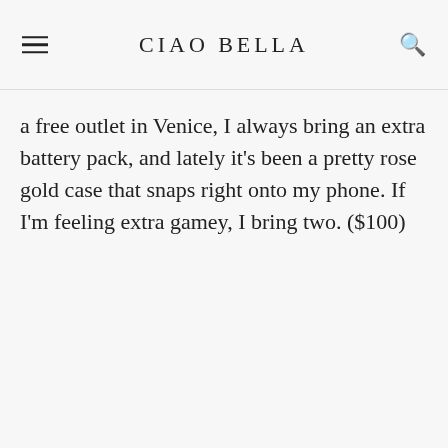CIAO BELLA
a free outlet in Venice, I always bring an extra battery pack, and lately it’s been a pretty rose gold case that snaps right onto my phone. If I’m feeling extra gamey, I bring two. ($100)